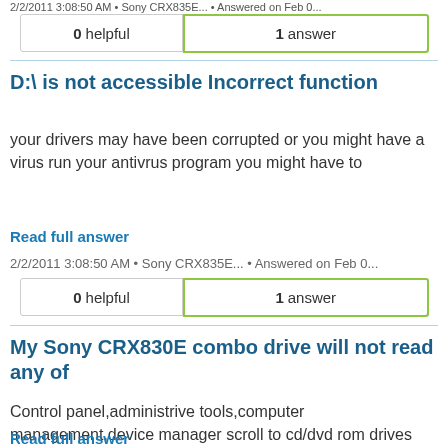2/2/2011 3:08:50 AM • Sony CRX835E... • Answered on Feb 0...
| 0 helpful | 1 answer |
| --- | --- |
D:\ is not accessible Incorrect function
your drivers may have been corrupted or you might have a virus run your antivrus program you might have to
Read full answer
2/2/2011 3:08:50 AM • Sony CRX835E... • Answered on Feb 0...
| 0 helpful | 1 answer |
| --- | --- |
My Sony CRX830E combo drive will not read any of
Control panel,administrive tools,computer management,device manager scroll to cd/dvd rom drives right click properties then
Read full answer